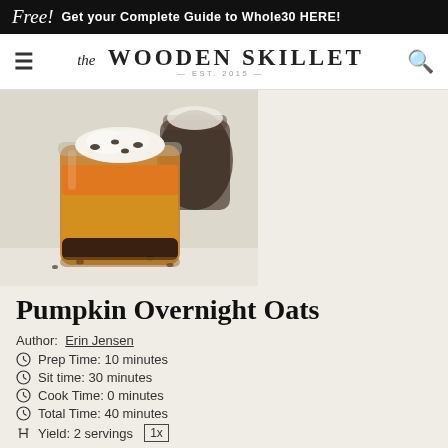Free! Get your Complete Guide to Whole30 HERE!
[Figure (logo): The Wooden Skillet logo with EST. 2015, hamburger menu icon and search icon]
[Figure (photo): Pumpkin overnight oats in a glass jar with chocolate chips and whipped cream, another jar in background]
Pumpkin Overnight Oats
Author: Erin Jensen
Prep Time: 10 minutes
Sit time: 30 minutes
Cook Time: 0 minutes
Total Time: 40 minutes
Yield: 2 servings 1x